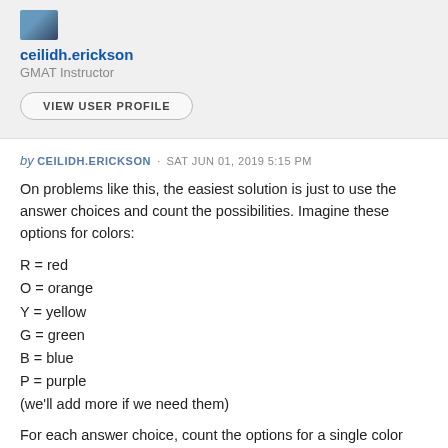[Figure (photo): Small user avatar/profile image thumbnail in top left]
ceilidh.erickson
GMAT Instructor
VIEW USER PROFILE
by CEILIDH.ERICKSON · SAT JUN 01, 2019 5:15 PM
On problems like this, the easiest solution is just to use the answer choices and count the possibilities. Imagine these options for colors:
R = red
O = orange
Y = yellow
G = green
B = blue
P = purple
(we'll add more if we need them)
For each answer choice, count the options for a single color and for pairs of colors: